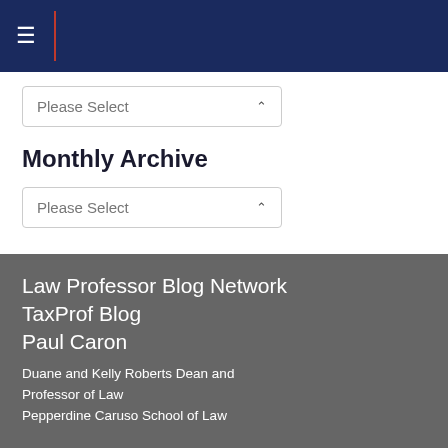[Figure (screenshot): Dark navy blue header bar with hamburger menu icon and a red vertical divider line]
[Figure (screenshot): Please Select dropdown box in white section]
Monthly Archive
[Figure (screenshot): Please Select dropdown box for monthly archive]
Law Professor Blog Network
TaxProf Blog
Paul Caron
Duane and Kelly Roberts Dean and Professor of Law
Pepperdine Caruso School of Law